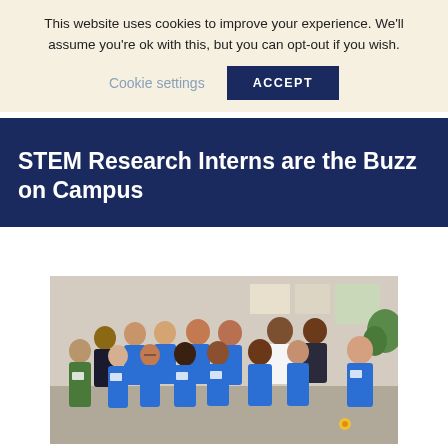This website uses cookies to improve your experience. We'll assume you're ok with this, but you can opt-out if you wish.
Cookie settings  ACCEPT
STEM Research Interns are the Buzz on Campus
STEM Research Interns are the Buzz on Campus
[Figure (photo): Group photo of approximately 13 STEM Research Interns and staff posing together indoors. Most interns are wearing bright blue polo shirts with name tags. The group is diverse and smiling. The background shows an interior space with posters and plants.]